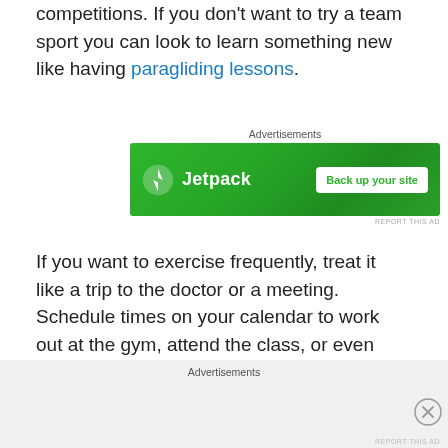competitions. If you don't want to try a team sport you can look to learn something new like having paragliding lessons.
[Figure (other): Jetpack advertisement banner with green background and 'Back up your site' button]
If you want to exercise frequently, treat it like a trip to the doctor or a meeting. Schedule times on your calendar to work out at the gym, attend the class, or even perform an exercise at home. If you make a commitment to it, you will gradually get more motivated to exercise, like it more, and be able to stick with it without being able to easily talk yourself out of it.
[Figure (other): Advertisements section at page bottom with grey background and close button]